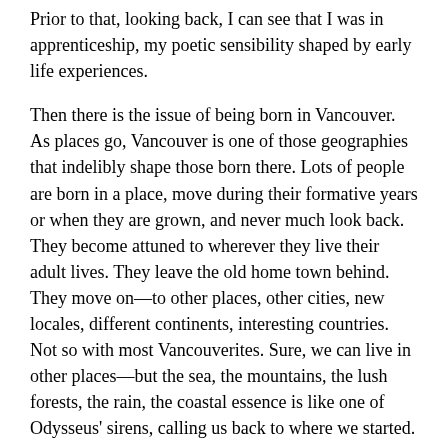Prior to that, looking back, I can see that I was in apprenticeship, my poetic sensibility shaped by early life experiences.
Then there is the issue of being born in Vancouver. As places go, Vancouver is one of those geographies that indelibly shape those born there. Lots of people are born in a place, move during their formative years or when they are grown, and never much look back. They become attuned to wherever they live their adult lives. They leave the old home town behind. They move on—to other places, other cities, new locales, different continents, interesting countries. Not so with most Vancouverites. Sure, we can live in other places—but the sea, the mountains, the lush forests, the rain, the coastal essence is like one of Odysseus' sirens, calling us back to where we started. The saltchuck is in our veins. The mountains are part of our identity. The rain is native to us, part of our natural habitat. Vancouver largely shaped the kind of poetry I have written; it imprinted itself on the DNA of my psyche. I can pull myself away from the beaches of the west coast, but I can't quite shake the sand out of my hair, or keep the seashells from hiding in my jacket pockets.
[partial text continues below visible area]